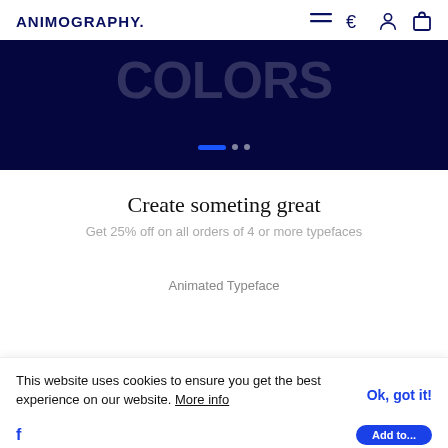ANIMOGRAPHY.
[Figure (screenshot): Dark navy hero banner with large faint text showing stylized characters, a blue rectangle indicator dot and a grey circle dot at bottom center.]
Create someting great
Get 25% off on all orders of 4 or more typefaces
Animated Typeface
This website uses cookies to ensure you get the best experience on our website. More info
Ok, got it!